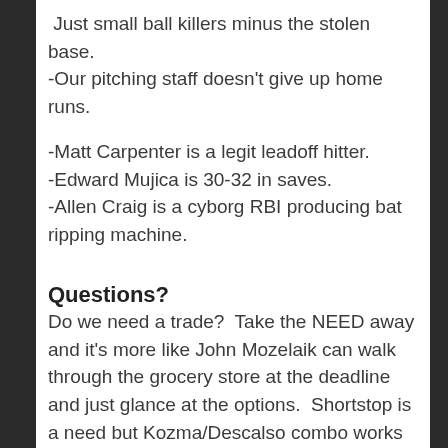Just small ball killers minus the stolen base.
-Our pitching staff doesn't give up home runs.
-Matt Carpenter is a legit leadoff hitter.
-Edward Mujica is 30-32 in saves.
-Allen Craig is a cyborg RBI producing bat ripping machine.
Questions?
Do we need a trade?  Take the NEED away and it's more like John Mozelaik can walk through the grocery store at the deadline and just glance at the options.  Shortstop is a need but Kozma/Descalso combo works and there isn't a good option on the market.
 Starting pitching is a need but you have 5 guys in there now battling and Carlos